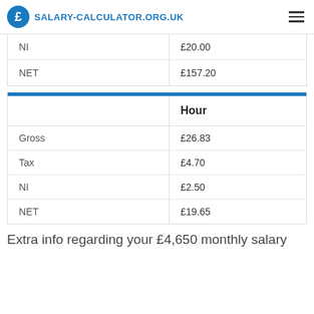SALARY-CALCULATOR.ORG.UK
|  |  |
| --- | --- |
| NI | £20.00 |
| NET | £157.20 |
|  | Hour |
| --- | --- |
| Gross | £26.83 |
| Tax | £4.70 |
| NI | £2.50 |
| NET | £19.65 |
Extra info regarding your £4,650 monthly salary